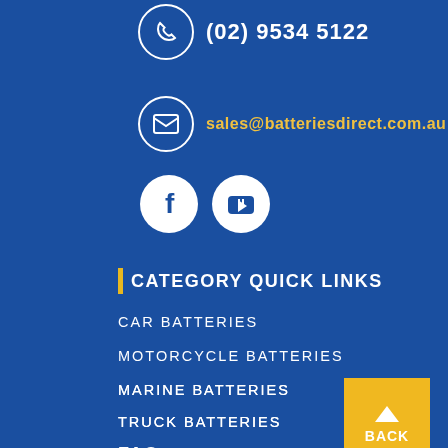(02) 9534 5122
sales@batteriesdirect.com.au
FOLLOW US ON
[Figure (logo): Facebook and YouTube social media icons as white circles]
CATEGORY QUICK LINKS
CAR BATTERIES
MOTORCYCLE BATTERIES
MARINE BATTERIES
TRUCK BATTERIES
CONSUMER BATTERIES
BACK
FAQ